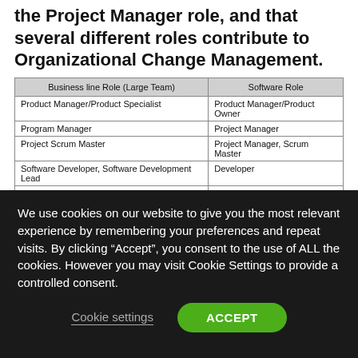the Project Manager role, and that several different roles contribute to Organizational Change Management.
| Business line Role (Large Team) | Software Role |
| --- | --- |
| Product Manager/Product Specialist | Product Manager/Product Owner |
| Program Manager | Project Manager |
| Project Scrum Master | Project Manager, Scrum Master |
| Software Developer, Software Development Lead | Developer |
| Architect | Architect |
| User Experience, Visual Design | User Experience |
| Software Tester, Software Test Lead | Tester |
| Product Champion, Training Development, OCM, Support | Organizational Change Management |
| Configuration Management Team | Release Management |
We use cookies on our website to give you the most relevant experience by remembering your preferences and repeat visits. By clicking “Accept”, you consent to the use of ALL the cookies. However you may visit Cookie Settings to provide a controlled consent.
Cookie settings
ACCEPT